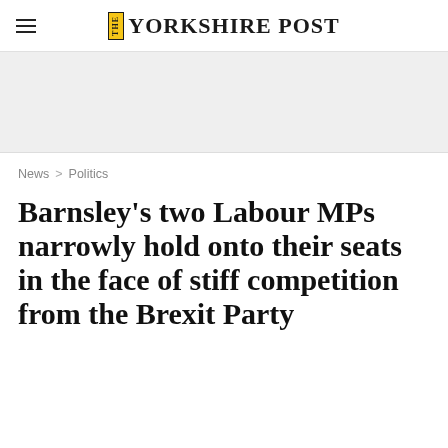THE YORKSHIRE POST
[Figure (other): Grey advertisement banner area]
News > Politics
Barnsley's two Labour MPs narrowly hold onto their seats in the face of stiff competition from the Brexit Party